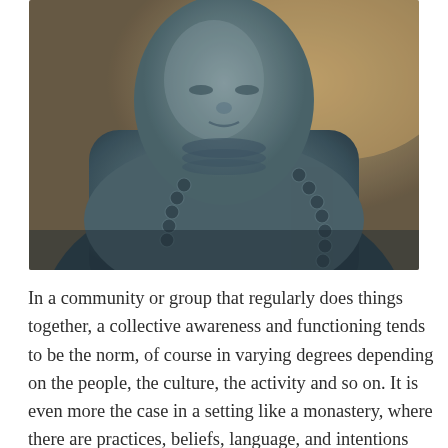[Figure (photo): Close-up photograph of a dark grey stone Buddha statue showing the face, neck, and upper chest/shoulders with detailed carved bead necklace and textured stone surface, against a warm blurred background.]
In a community or group that regularly does things together, a collective awareness and functioning tends to be the norm, of course in varying degrees depending on the people, the culture, the activity and so on. It is even more the case in a setting like a monastery, where there are practices, beliefs, language, and intentions that are already collectively engaged in, so being in this one-mind